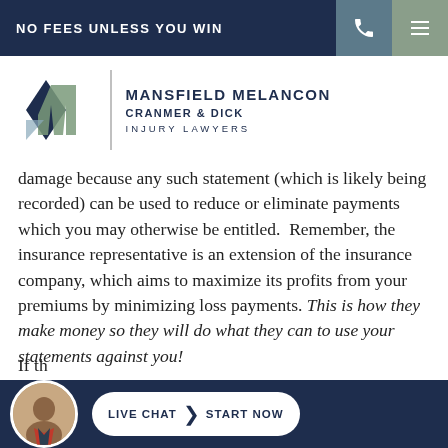NO FEES UNLESS YOU WIN
[Figure (logo): Mansfield Melancon Cranmer & Dick Injury Lawyers logo with geometric M mark in navy and sage green]
damage because any such statement (which is likely being recorded) can be used to reduce or eliminate payments which you may otherwise be entitled. Remember, the insurance representative is an extension of the insurance company, which aims to maximize its profits from your premiums by minimizing loss payments. This is how they make money so they will do what they can to use your statements against you!
If th...
[Figure (photo): Circular avatar photo of a man in a suit]
LIVE CHAT  START NOW